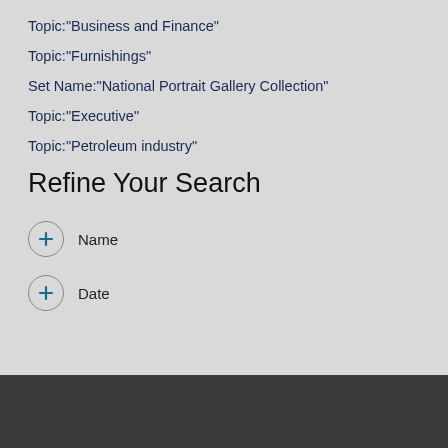Topic:"Business and Finance"
Topic:"Furnishings"
Set Name:"National Portrait Gallery Collection"
Topic:"Executive"
Topic:"Petroleum industry"
Refine Your Search
+ Name
+ Date